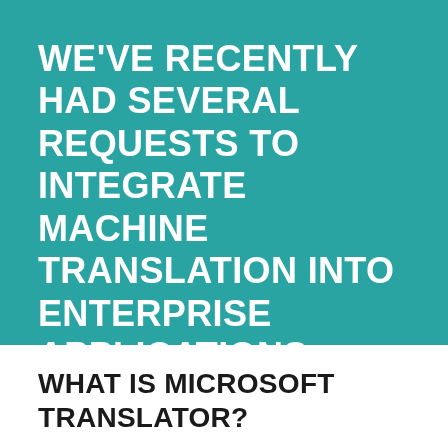WE'VE RECENTLY HAD SEVERAL REQUESTS TO INTEGRATE MACHINE TRANSLATION INTO ENTERPRISE APPLICATIONS. THIS POST DETAILS THE SETUP INSTRUCTIONS FOR THE MICROSOFT TRANSLATOR V3 INSTANCE.
WHAT IS MICROSOFT TRANSLATOR?